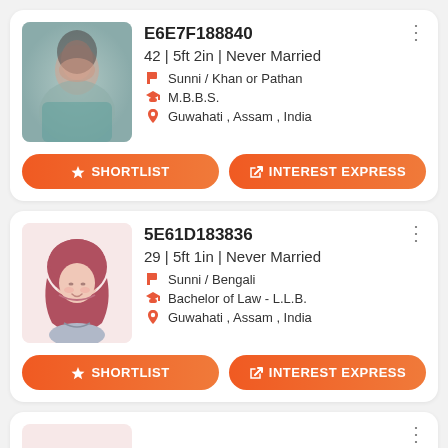[Figure (other): Profile card 1: Photo of a woman (blurred), ID E6E7F188840, 42 | 5ft 2in | Never Married, Sunni / Khan or Pathan, M.B.B.S., Guwahati , Assam , India, with Shortlist and Interest Express buttons]
[Figure (other): Profile card 2: Hijab avatar icon, ID 5E61D183836, 29 | 5ft 1in | Never Married, Sunni / Bengali, Bachelor of Law - L.L.B., Guwahati , Assam , India, with Shortlist and Interest Express buttons]
[Figure (other): Profile card 3 (partial): ID 3A4AF182151, partially visible at bottom]